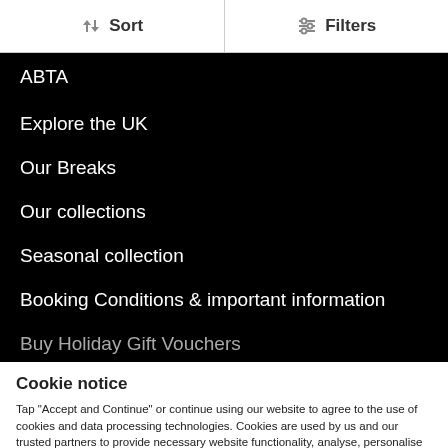Sort | Filters
ABTA
Explore the UK
Our Breaks
Our collections
Seasonal collection
Booking Conditions & important information
Buy Holiday Gift Vouchers
Cookie notice
Tap "Accept and Continue" or continue using our website to agree to the use of cookies and data processing technologies. Cookies are used by us and our trusted partners to provide necessary website functionality, analyse, personalise and enhance your experience on this website as well as to deliver tailored holiday-related ads on other websites.
Accept and Continue